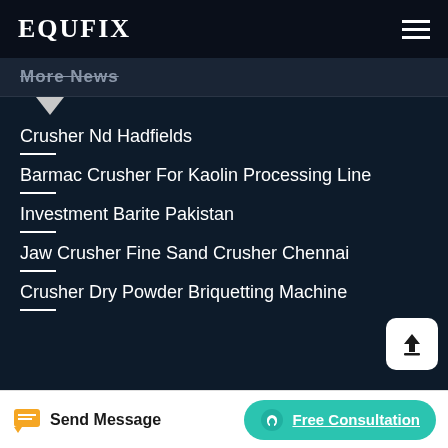EQUFIX
More News
Crusher Nd Hadfields
Barmac Crusher For Kaolin Processing Line
Investment Barite Pakistan
Jaw Crusher Fine Sand Crusher Chennai
Crusher Dry Powder Briquetting Machine
Send Message
Free Consultation